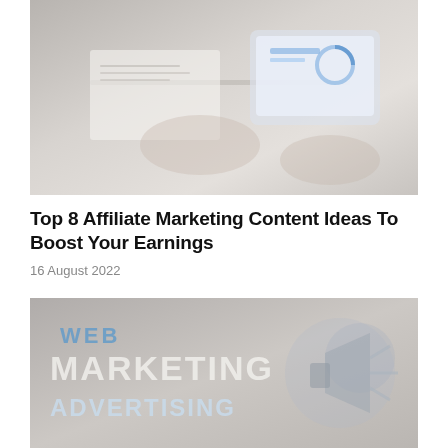[Figure (photo): Person working at a desk with a tablet showing analytics/charts, seen from above]
Top 8 Affiliate Marketing Content Ideas To Boost Your Earnings
16 August 2022
[Figure (photo): Marketing concept image showing text overlays: WEB, MARKETING, ADVERTISING with a megaphone/speaker graphic]